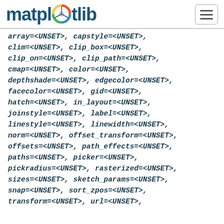matplotlib
array=<UNSET>, capstyle=<UNSET>, clim=<UNSET>, clip_box=<UNSET>, clip_on=<UNSET>, clip_path=<UNSET>, cmap=<UNSET>, color=<UNSET>, depthshade=<UNSET>, edgecolor=<UNSET>, facecolor=<UNSET>, gid=<UNSET>, hatch=<UNSET>, in_layout=<UNSET>, joinstyle=<UNSET>, label=<UNSET>, linestyle=<UNSET>, linewidth=<UNSET>, norm=<UNSET>, offset_transform=<UNSET>, offsets=<UNSET>, path_effects=<UNSET>, paths=<UNSET>, picker=<UNSET>, pickradius=<UNSET>, rasterized=<UNSET>, sizes=<UNSET>, sketch_params=<UNSET>, snap=<UNSET>, sort_zpos=<UNSET>, transform=<UNSET>, url=<UNSET>,